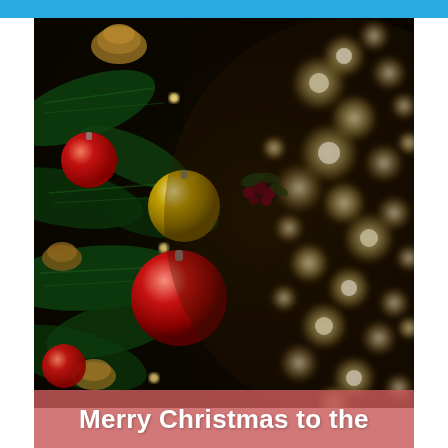[Figure (photo): Close-up photograph of Christmas tree ornaments — red and gold baubles hanging on pine branches with warm bokeh lights in the background]
Merry Christmas to the